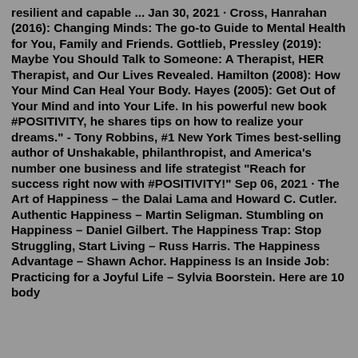resilient and capable ... Jan 30, 2021 · Cross, Hanrahan (2016): Changing Minds: The go-to Guide to Mental Health for You, Family and Friends. Gottlieb, Pressley (2019): Maybe You Should Talk to Someone: A Therapist, HER Therapist, and Our Lives Revealed. Hamilton (2008): How Your Mind Can Heal Your Body. Hayes (2005): Get Out of Your Mind and into Your Life. In his powerful new book #POSITIVITY, he shares tips on how to realize your dreams." - Tony Robbins, #1 New York Times best-selling author of Unshakable, philanthropist, and America's number one business and life strategist "Reach for success right now with #POSITIVITY!" Sep 06, 2021 · The Art of Happiness – the Dalai Lama and Howard C. Cutler. Authentic Happiness – Martin Seligman. Stumbling on Happiness – Daniel Gilbert. The Happiness Trap: Stop Struggling, Start Living – Russ Harris. The Happiness Advantage – Shawn Achor. Happiness Is an Inside Job: Practicing for a Joyful Life – Sylvia Boorstein. Here are 10 body